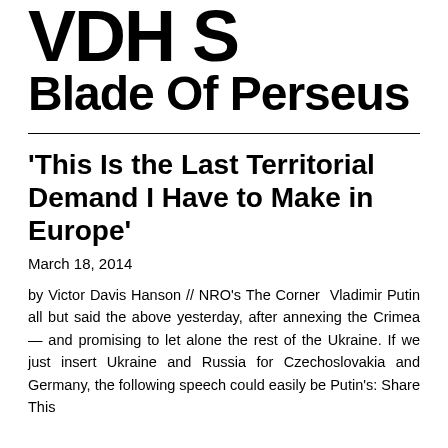VDH S Blade Of Perseus
'This Is the Last Territorial Demand I Have to Make in Europe'
March 18, 2014
by Victor Davis Hanson // NRO's The Corner  Vladimir Putin all but said the above yesterday, after annexing the Crimea — and promising to let alone the rest of the Ukraine. If we just insert Ukraine and Russia for Czechoslovakia and Germany, the following speech could easily be Putin's: Share This